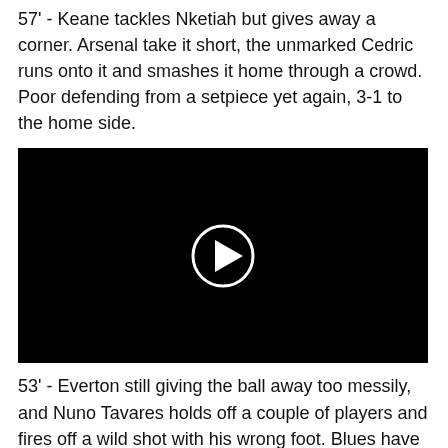57' - Keane tackles Nketiah but gives away a corner. Arsenal take it short, the unmarked Cedric runs onto it and smashes it home through a crowd. Poor defending from a setpiece yet again, 3-1 to the home side.
[Figure (other): Black video player with a white circular play button in the center]
53' - Everton still giving the ball away too messily, and Nuno Tavares holds off a couple of players and fires off a wild shot with his wrong foot. Blues have retreated back into a defensive shell again.